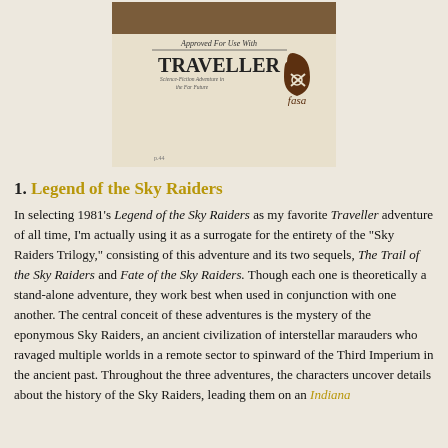[Figure (photo): Photo of a FASA Traveller game product cover showing 'Approved For Use With TRAVELLER. Science-Fiction Adventure in the Far Future' text and the FASA logo (a teardrop/shield shape with crossed implements).]
1. Legend of the Sky Raiders
In selecting 1981's Legend of the Sky Raiders as my favorite Traveller adventure of all time, I'm actually using it as a surrogate for the entirety of the "Sky Raiders Trilogy," consisting of this adventure and its two sequels, The Trail of the Sky Raiders and Fate of the Sky Raiders. Though each one is theoretically a stand-alone adventure, they work best when used in conjunction with one another. The central conceit of these adventures is the mystery of the eponymous Sky Raiders, an ancient civilization of interstellar marauders who ravaged multiple worlds in a remote sector to spinward of the Third Imperium in the ancient past. Throughout the three adventures, the characters uncover details about the history of the Sky Raiders, leading them on an Indiana